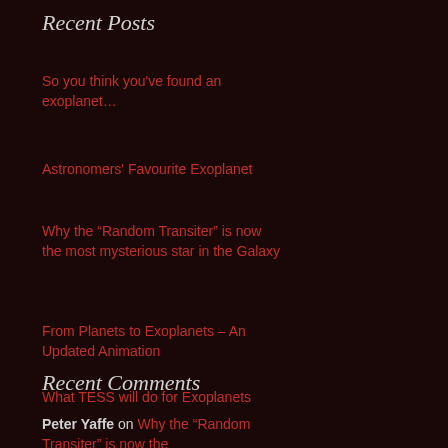Recent Posts
So you think you've found an exoplanet…
Astronomers' Favourite Exoplanet
Why the “Random Transiter” is now the most mysterious star in the Galaxy
From Planets to Exoplanets – An Updated Animation
What TESS will do for Exoplanets
Recent Comments
Peter Yaffe on Why the “Random Transiter” is now the